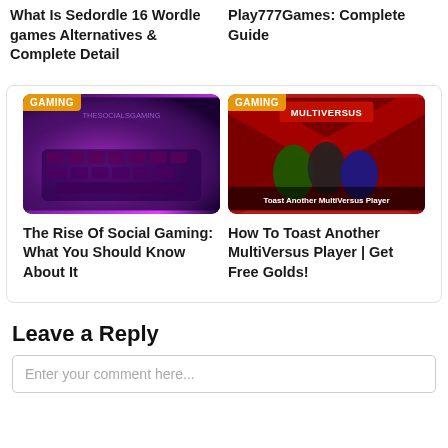What Is Sedordle 16 Wordle games Alternatives & Complete Detail
Play777Games: Complete Guide
[Figure (photo): Purple-lit gaming keyboard with GAMING badge in top-left corner]
[Figure (photo): MultiVersus game art showing characters with title 'Toast Another MultiVersus Player' and GAMING badge]
The Rise Of Social Gaming: What You Should Know About It
How To Toast Another MultiVersus Player | Get Free Golds!
Leave a Reply
Enter your comment here...